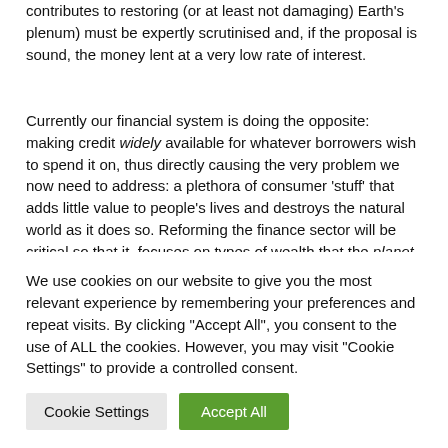contributes to restoring (or at least not damaging) Earth's plenum) must be expertly scrutinised and, if the proposal is sound, the money lent at a very low rate of interest.
Currently our financial system is doing the opposite: making credit widely available for whatever borrowers wish to spend it on, thus directly causing the very problem we now need to address: a plethora of consumer 'stuff' that adds little value to people's lives and destroys the natural world as it does so. Reforming the finance sector will be critical so that it  focuses on types of wealth that the planet can afford. Imagine an
We use cookies on our website to give you the most relevant experience by remembering your preferences and repeat visits. By clicking "Accept All", you consent to the use of ALL the cookies. However, you may visit "Cookie Settings" to provide a controlled consent.